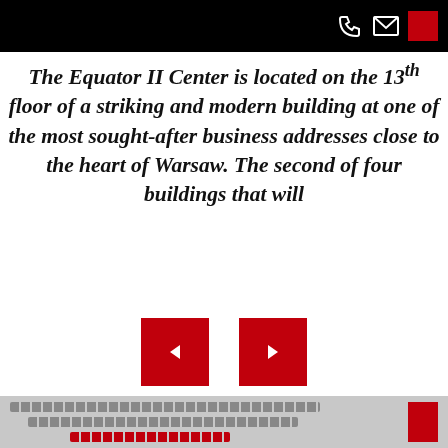The Equator II Center is located on the 13th floor of a striking and modern building at one of the most sought-after business addresses close to the heart of Warsaw. The second of four buildings that will
[Figure (other): Two red square navigation buttons side by side]
[Figure (photo): Photo of a modern glass and concrete skyscraper building shot from below against a blue sky]